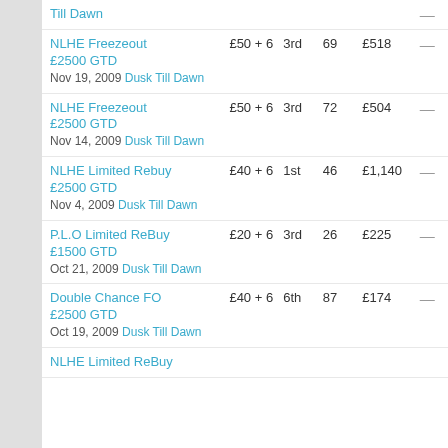| Event | Buy-in | Position | Entries | Prize |  |
| --- | --- | --- | --- | --- | --- |
| Till Dawn |  |  |  |  | — |
| NLHE Freezeout £2500 GTD
Nov 19, 2009 Dusk Till Dawn | £50 + 6 | 3rd | 69 | £518 | — |
| NLHE Freezeout £2500 GTD
Nov 14, 2009 Dusk Till Dawn | £50 + 6 | 3rd | 72 | £504 | — |
| NLHE Limited Rebuy £2500 GTD
Nov 4, 2009 Dusk Till Dawn | £40 + 6 | 1st | 46 | £1,140 | — |
| P.L.O Limited ReBuy £1500 GTD
Oct 21, 2009 Dusk Till Dawn | £20 + 6 | 3rd | 26 | £225 | — |
| Double Chance FO £2500 GTD
Oct 19, 2009 Dusk Till Dawn | £40 + 6 | 6th | 87 | £174 | — |
| NLHE Limited ReBuy |  |  |  |  |  |